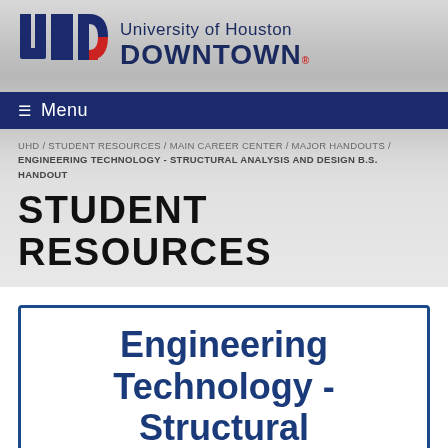[Figure (logo): University of Houston Downtown (UHD) logo with UHD letters in navy and red, beside text 'University of Houston DOWNTOWN' in navy blue]
≡ Menu
UHD / STUDENT RESOURCES / MAIN CAREER CENTER / MAJOR HANDOUTS / ENGINEERING TECHNOLOGY - STRUCTURAL ANALYSIS AND DESIGN B.S. HANDOUT
STUDENT RESOURCES
Engineering Technology - Structural